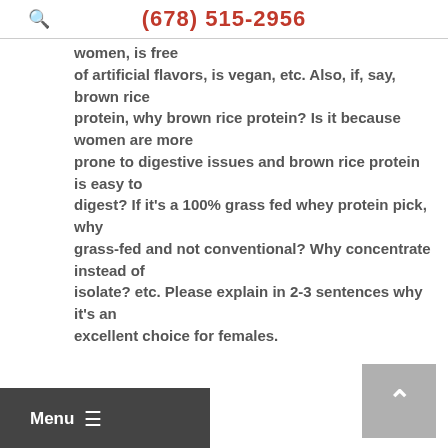(678) 515-2956
women, is free of artificial flavors, is vegan, etc. Also, if, say, brown rice protein, why brown rice protein? Is it because women are more prone to digestive issues and brown rice protein is easy to digest? If it’s a 100% grass fed whey protein pick, why grass-fed and not conventional? Why concentrate instead of isolate? etc. Please explain in 2-3 sentences why it’s an excellent choice for females.